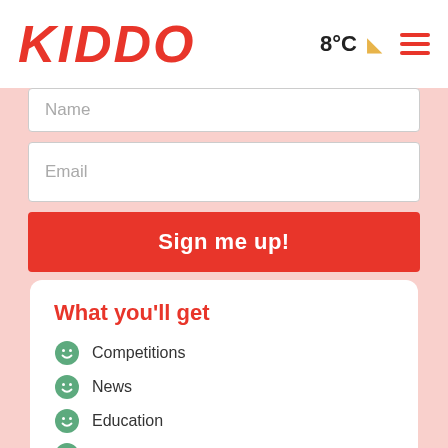KIDDO | 8°C | menu
[Figure (screenshot): Name input field (partially visible at top)]
[Figure (screenshot): Email input field]
[Figure (screenshot): Sign me up! red button]
What you'll get
Competitions
News
Education
What's up around town
The occasional bad pun